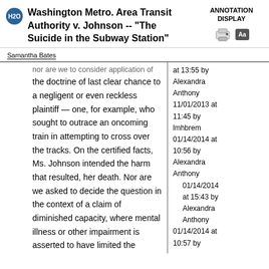Washington Metro. Area Transit Authority v. Johnson -- "The Suicide in the Subway Station"
Samantha Bates
the doctrine of last clear chance to a negligent or even reckless plaintiff — one, for example, who sought to outrace an oncoming train in attempting to cross over the tracks. On the certified facts, Ms. Johnson intended the harm that resulted, her death. Nor are we asked to decide the question in the context of a claim of diminished capacity, where mental illness or other impairment is asserted to have limited the suicide victim's ability to appreciate her peril or
at 13:55 by Alexandra Anthony 11/01/2013 at 11:45 by lmhbrem 01/14/2014 at 10:56 by Alexandra Anthony 01/14/2014 at 15:43 by Alexandra Anthony 01/14/2014 at 10:57 by